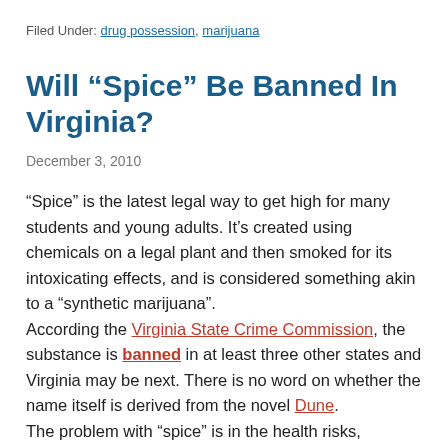Filed Under: drug possession, marijuana
Will “Spice” Be Banned In Virginia?
December 3, 2010
“Spice” is the latest legal way to get high for many students and young adults. It’s created using chemicals on a legal plant and then smoked for its intoxicating effects, and is considered something akin to a “synthetic marijuana”.
According the Virginia State Crime Commission, the substance is banned in at least three other states and Virginia may be next. There is no word on whether the name itself is derived from the novel Dune.
The problem with “spice” is in the health risks, according